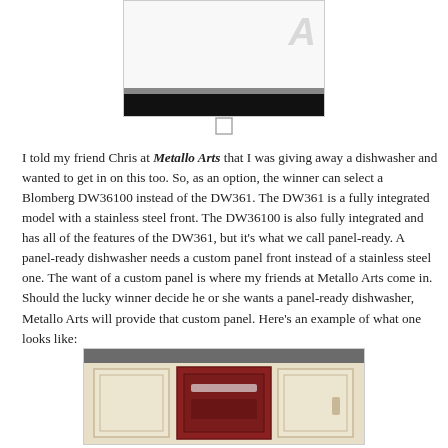[Figure (photo): Partial product image of a dishwasher with a black bar at the bottom and a watermark 'A' symbol, shown cropped at the top of the page]
I told my friend Chris at Metallo Arts that I was giving away a dishwasher and wanted to get in on this too. So, as an option, the winner can select a Blomberg DW36100 instead of the DW361. The DW361 is a fully integrated model with a stainless steel front. The DW36100 is also fully integrated and has all of the features of the DW361, but it's what we call panel-ready. A panel-ready dishwasher needs a custom panel front instead of a stainless steel one. The want of a custom panel is where my friends at Metallo Arts come in. Should the lucky winner decide he or she wants a panel-ready dishwasher, Metallo Arts will provide that custom panel. Here's an example of what one looks like:
[Figure (photo): Bottom portion of a kitchen showing custom panel dishwasher integrated into cabinetry with cream/white cabinets and a dark countertop]